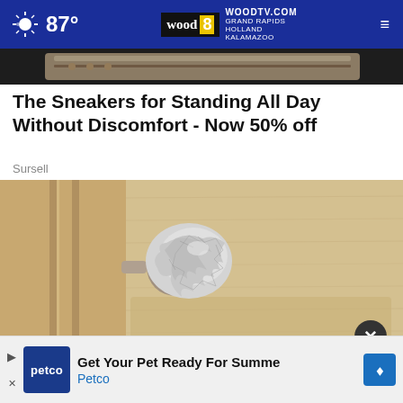87° WOODTV.COM GRAND RAPIDS HOLLAND KALAMAZOO wood 8
[Figure (photo): Top strip showing partial view of sneakers/shoes on dark background]
The Sneakers for Standing All Day Without Discomfort - Now 50% off
Sursell
[Figure (photo): Close-up photo of a door knob covered in aluminum foil/tin foil against a wooden door]
[Figure (photo): Petco advertisement banner: Get Your Pet Ready For Summer - Petco]